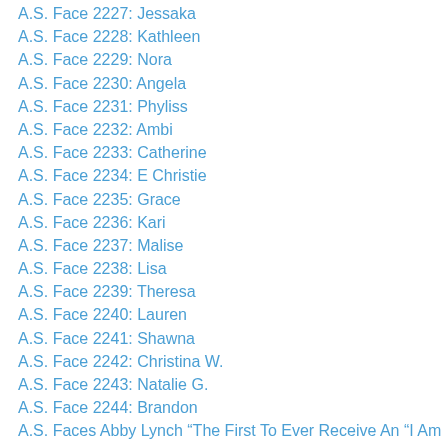A.S. Face 2227: Jessaka
A.S. Face 2228: Kathleen
A.S. Face 2229: Nora
A.S. Face 2230: Angela
A.S. Face 2231: Phyliss
A.S. Face 2232: Ambi
A.S. Face 2233: Catherine
A.S. Face 2234: E Christie
A.S. Face 2235: Grace
A.S. Face 2236: Kari
A.S. Face 2237: Malise
A.S. Face 2238: Lisa
A.S. Face 2239: Theresa
A.S. Face 2240: Lauren
A.S. Face 2241: Shawna
A.S. Face 2242: Christina W.
A.S. Face 2243: Natalie G.
A.S. Face 2244: Brandon
A.S. Faces Abby Lynch “The First To Ever Receive An “I Am The Face Of Ankylosing Spondylitis” Wristband